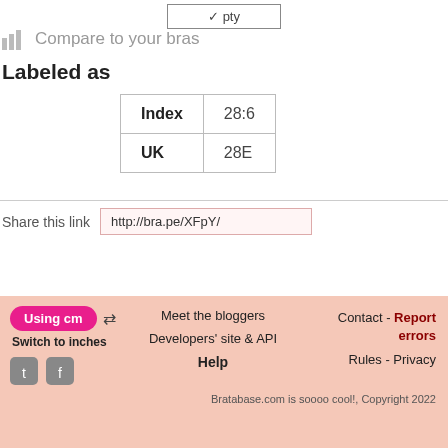Compare to your bras
Labeled as
| Index | 28:6 |
| --- | --- |
| UK | 28E |
Share this link  http://bra.pe/XFpY/
Using cm  Switch to inches
Meet the bloggers
Contact - Report errors
Developers' site & API
Rules - Privacy
Help
Bratabase.com is soooo cool!, Copyright 2022